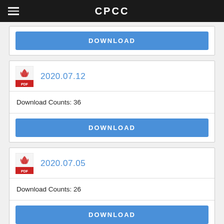CPCC
DOWNLOAD
2020.07.12
Download Counts: 36
DOWNLOAD
2020.07.05
Download Counts: 26
DOWNLOAD